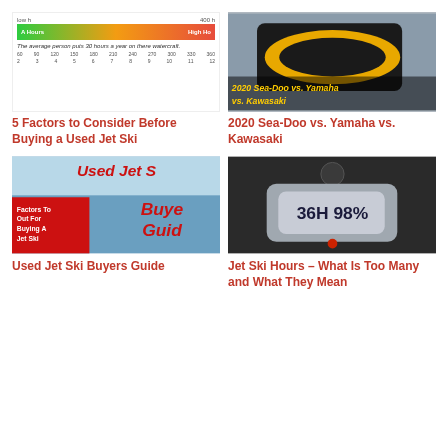[Figure (infographic): Jet ski hours infographic showing a gradient bar from low hours (green) to high hours (red), with scale showing 60-360 hours and 2-12 years. Caption: The average person puts 30 hours a year on their watercraft.]
5 Factors to Consider Before Buying a Used Jet Ski
[Figure (photo): Photo of a yellow and black Sea-Doo jet ski with overlay text: 2020 Sea-Doo vs. Yamaha vs. Kawasaki]
2020 Sea-Doo vs. Yamaha vs. Kawasaki
[Figure (photo): Used Jet Ski buyers guide thumbnail with text overlay: Used Jet Ski Buyers Guide, Factors To Look Out For When Buying A Jet Ski]
Used Jet Ski Buyers Guide
[Figure (photo): Close-up photo of a jet ski meter/dashboard showing hours display]
Jet Ski Hours – What Is Too Many and What They Mean